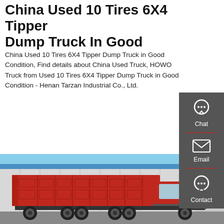China Used 10 Tires 6X4 Tipper Dump Truck In Good
China Used 10 Tires 6X4 Tipper Dump Truck in Good Condition, Find details about China Used Truck, HOWO Truck from Used 10 Tires 6X4 Tipper Dump Truck in Good Condition - Henan Tarzan Industrial Co., Ltd.
[Figure (other): GET A QUOTE button (red rectangle with white bold text)]
[Figure (other): Sidebar panel with chat, email, and contact icons on dark grey background]
[Figure (photo): Red HOWO 6x4 tipper dump truck parked in front of a grey industrial warehouse building]